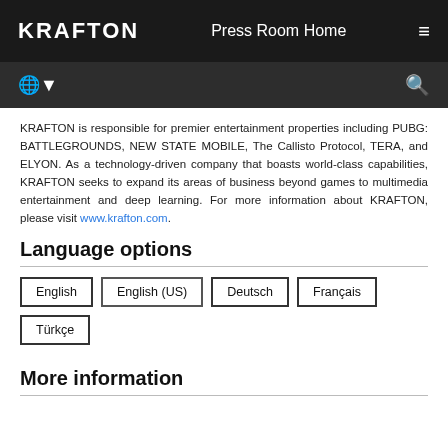KRAFTON | Press Room Home
KRAFTON is responsible for premier entertainment properties including PUBG: BATTLEGROUNDS, NEW STATE MOBILE, The Callisto Protocol, TERA, and ELYON. As a technology-driven company that boasts world-class capabilities, KRAFTON seeks to expand its areas of business beyond games to multimedia entertainment and deep learning. For more information about KRAFTON, please visit www.krafton.com.
Language options
English
English (US)
Deutsch
Français
Türkçe
More information